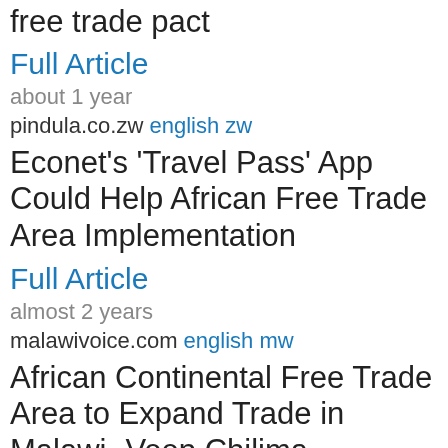free trade pact
Full Article
about 1 year
pindula.co.zw english zw
Econet's 'Travel Pass' App Could Help African Free Trade Area Implementation
Full Article
almost 2 years
malawivoice.com english mw
African Continental Free Trade Area to Expand Trade in Malawi- Veep Chilima